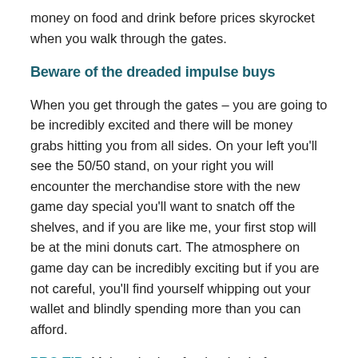money on food and drink before prices skyrocket when you walk through the gates.
Beware of the dreaded impulse buys
When you get through the gates – you are going to be incredibly excited and there will be money grabs hitting you from all sides. On your left you'll see the 50/50 stand, on your right you will encounter the merchandise store with the new game day special you'll want to snatch off the shelves, and if you are like me, your first stop will be at the mini donuts cart. The atmosphere on game day can be incredibly exciting but if you are not careful, you'll find yourself whipping out your wallet and blindly spending more than you can afford.
PRO TIP: Make a budget for the day before you leave your house while you are in a calmer, more rational